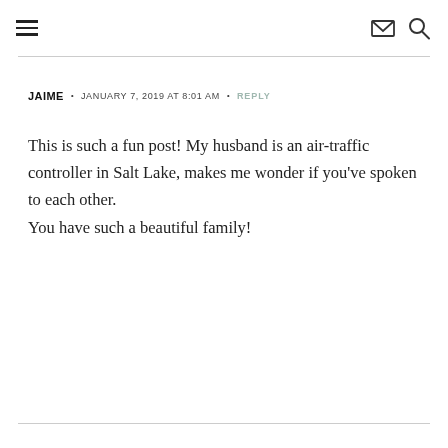☰  ✉ 🔍
JAIME  •  JANUARY 7, 2019 AT 8:01 AM  •  REPLY
This is such a fun post! My husband is an air-traffic controller in Salt Lake, makes me wonder if you've spoken to each other.
You have such a beautiful family!